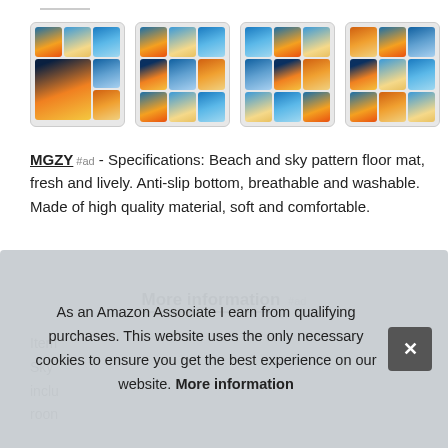[Figure (screenshot): Four product thumbnail images showing beach/sunset pattern floor mats arranged in a 3x3 grid tile layout each]
MGZY #ad - Specifications: Beach and sky pattern floor mat, fresh and lively. Anti-slip bottom, breathable and washable. Made of high quality material, soft and comfortable.
More information #ad
Item ... Sky ... inclu... roon...
As an Amazon Associate I earn from qualifying purchases. This website uses the only necessary cookies to ensure you get the best experience on our website. More information